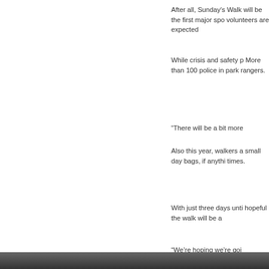After all, Sunday's Walk will be the first major spo volunteers are expected
While crisis and safety p More than 100 police in park rangers.
“There will be a bit more
Also this year, walkers a small day bags, if anythi times.
With just three days unti hopeful the walk will be a
“We’re hoping we’re goi
A route map and road c
For more information on
South End Patch
Posted by Massachusetts
Categories: Arrests  Tags: